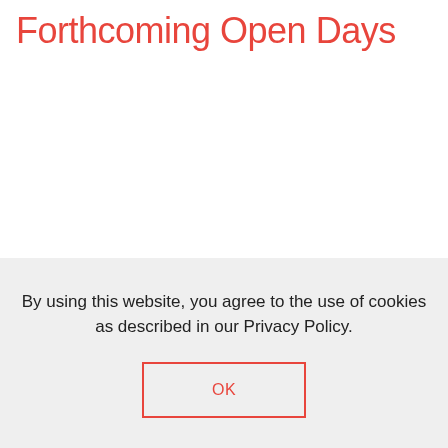Forthcoming Open Days
By using this website, you agree to the use of cookies as described in our Privacy Policy.
OK